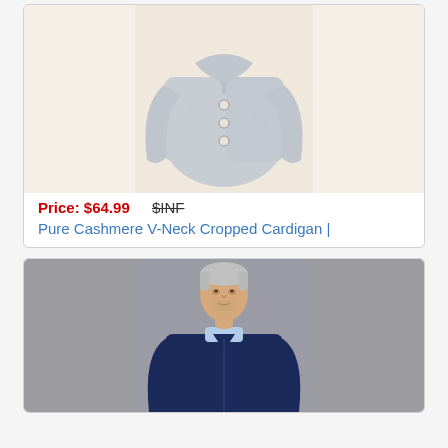[Figure (photo): Grey cashmere V-neck cropped cardigan on a cream background]
Price: $64.99   $INF
Pure Cashmere V-Neck Cropped Cardigan |
[Figure (photo): Middle-aged man with grey hair wearing a navy V-neck cardigan over a light blue shirt, grey background]